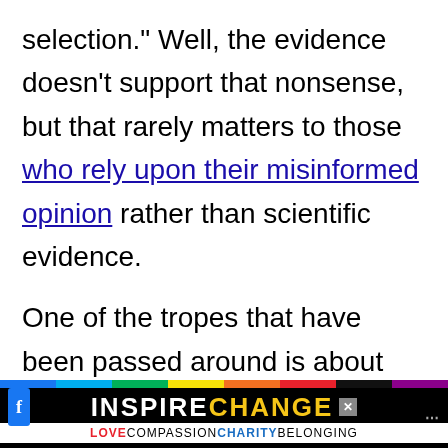selection." Well, the evidence doesn't support that nonsense, but that rarely matters to those who rely upon their misinformed opinion rather than scientific evidence.

One of the tropes that have been passed around is about honey and high fructose corn syrup (HFCS) – honey is good, HFCS is bad. Scientifically, this is ridiculous, but the honey industry,
[Figure (infographic): Ad banner at bottom: rainbow colored top bar, black background with 'INSPIRE CHANGE' in white and yellow bold letters with a close button X, and subtitle row 'LOVECOMPASSIONCHARITYBELONGING' with colored text on white background. Facebook icon on left, social icons on right.]